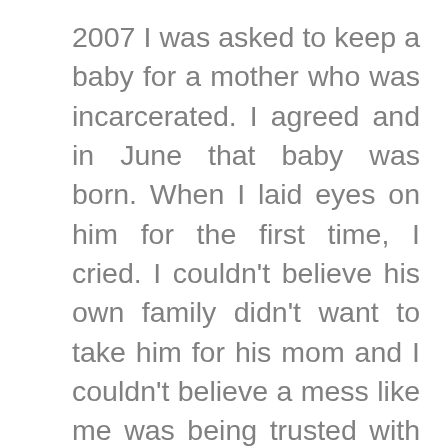2007 I was asked to keep a baby for a mother who was incarcerated. I agreed and in June that baby was born. When I laid eyes on him for the first time, I cried. I couldn't believe his own family didn't want to take him for his mom and I couldn't believe a mess like me was being trusted with this perfect creation. This was the moment I realized I needed Christ in my life. I couldn't do a thing for myself except fail. But in this moment, I realized if I failed, I wouldn't be just failing myself, but this child that I was now